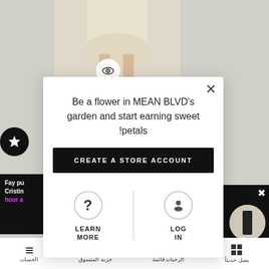[Figure (screenshot): E-commerce website screenshot showing a modal popup over a product page. Background shows a woman's lower body in a beige dress with heels. A modal dialog is displayed with text about earning petals, a 'CREATE A STORE ACCOUNT' button, and options to 'LEARN MORE' or 'LOG IN'. There is also an Arabic navigation bar at the bottom.]
Be a flower in MEAN BLVD's garden and start earning sweet petals!
CREATE A STORE ACCOUNT
LEARN MORE
LOG IN
يصل حديثاً
قائمة الرحبات
حزبه المتسوق
الحساب